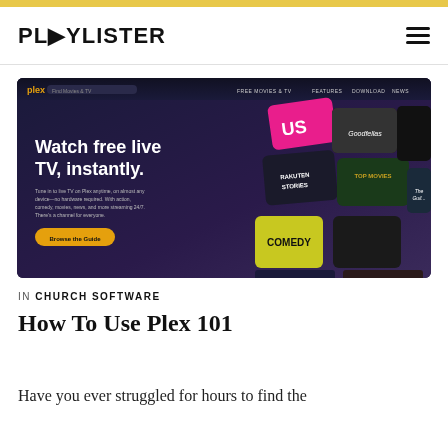PLYLISTER
[Figure (screenshot): Screenshot of Plex website homepage showing 'Watch free live TV, instantly.' with streaming channel tiles including US, Racuten Stories, Top Movies, Comedy and others on a dark blue/purple gradient background]
IN CHURCH SOFTWARE
How To Use Plex 101
Have you ever struggled for hours to find the